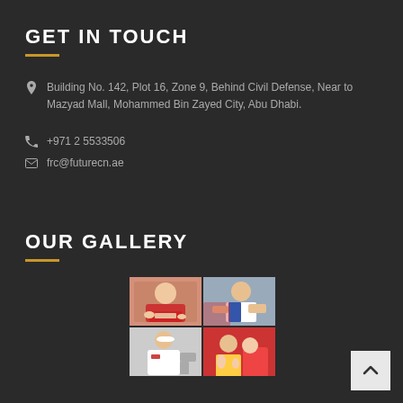GET IN TOUCH
Building No. 142, Plot 16, Zone 9, Behind Civil Defense, Near to Mazyad Mall, Mohammed Bin Zayed City, Abu Dhabi.
+971 2 5533506
frc@futurecn.ae
OUR GALLERY
[Figure (photo): Gallery of four photos showing people in various activities]